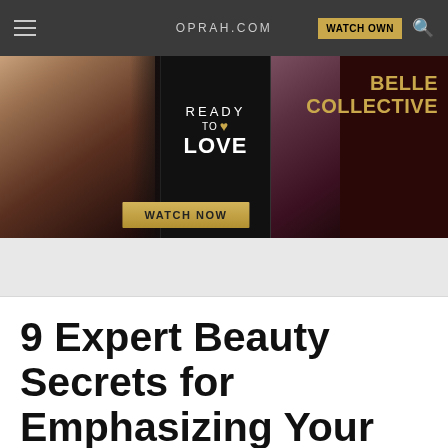OPRAH.COM | WATCH OWN
[Figure (screenshot): Advertisement banner for OWN network showing 'Ready to Love' and 'Belle Collective' shows with a 'Watch Now' button]
9 Expert Beauty Secrets for Emphasizing Your Favorite Features